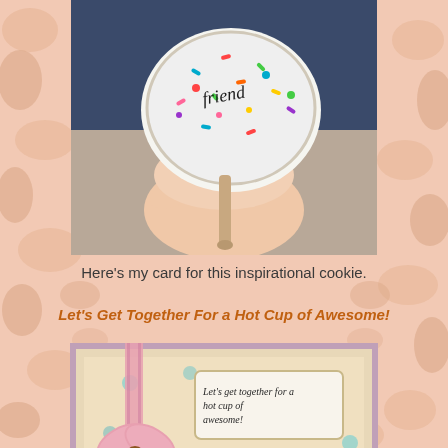[Figure (photo): Hand holding a round white-frosted cookie with colorful sprinkles and dark script writing on top]
Here's my card for this inspirational cookie.
Let's Get Together For a Hot Cup of Awesome!
[Figure (photo): Handmade greeting card with pink ribbon bow and a brown brad embellishment, featuring decorative patterned paper with a coffee mug stamp image topped with sprinkles, and a sentiment tag reading 'Let's get together for a hot cup of awesome!']